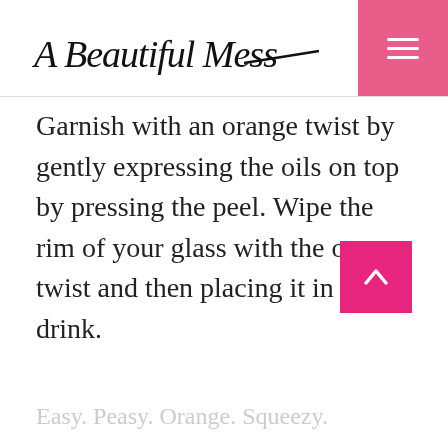A Beautiful Mess
Garnish with an orange twist by gently expressing the oils on top by pressing the peel. Wipe the rim of your glass with the orange twist and then placing it in your drink.
Easy. Peasy. Orange. Squeezy.